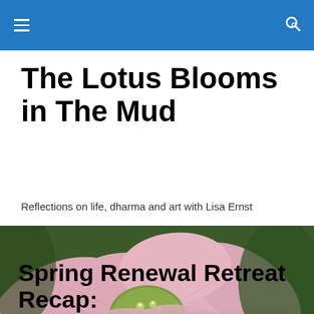The Lotus Blooms in The Mud
Reflections on life, dharma and art with Lisa Ernst
[Figure (photo): Close-up photograph of a pink lotus flower in bloom showing petals and green center]
Privacy & Cookies: This site uses cookies. By continuing to use this website, you agree to their use. To find out more, including how to control cookies, see here: Cookie Policy
Close and accept
Spring Renewal Retreat Recap: